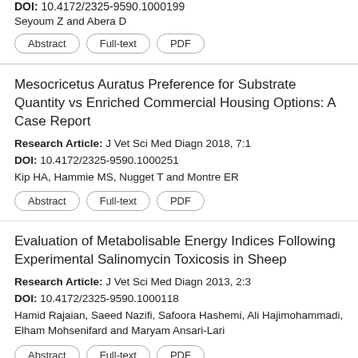DOI: 10.4172/2325-9590.1000199
Seyoum Z and Abera D
Abstract | Full-text | PDF
Mesocricetus Auratus Preference for Substrate Quantity vs Enriched Commercial Housing Options: A Case Report
Research Article: J Vet Sci Med Diagn 2018, 7:1
DOI: 10.4172/2325-9590.1000251
Kip HA, Hammie MS, Nugget T and Montre ER
Abstract | Full-text | PDF
Evaluation of Metabolisable Energy Indices Following Experimental Salinomycin Toxicosis in Sheep
Research Article: J Vet Sci Med Diagn 2013, 2:3
DOI: 10.4172/2325-9590.1000118
Hamid Rajaian, Saeed Nazifi, Safoora Hashemi, Ali Hajimohammadi, Elham Mohsenifard and Maryam Ansari-Lari
Abstract | Full-text | PDF